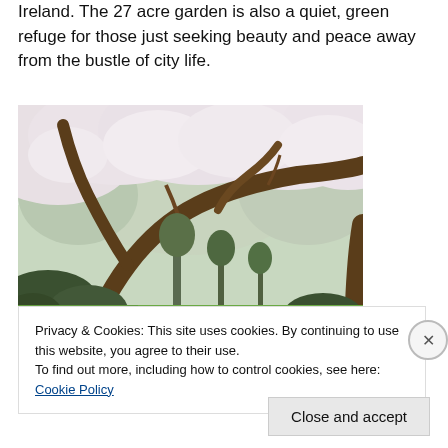Ireland. The 27 acre garden is also a quiet, green refuge for those just seeking beauty and peace away from the bustle of city life.
[Figure (photo): A garden scene with flowering cherry blossom trees, large branching trunks extending across the frame, and a bright green lawn in the foreground under a light sky.]
Privacy & Cookies: This site uses cookies. By continuing to use this website, you agree to their use.
To find out more, including how to control cookies, see here: Cookie Policy